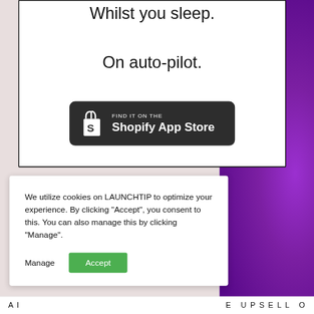Whilst you sleep.
On auto-pilot.
[Figure (logo): Shopify App Store button — dark rounded rectangle with Shopify bag icon and text 'FIND IT ON THE Shopify App Store']
We utilize cookies on LAUNCHTIP to optimize your experience. By clicking "Accept", you consent to this. You can also manage this by clicking "Manage".
Manage
Accept
A I    E  U P S E L L  O